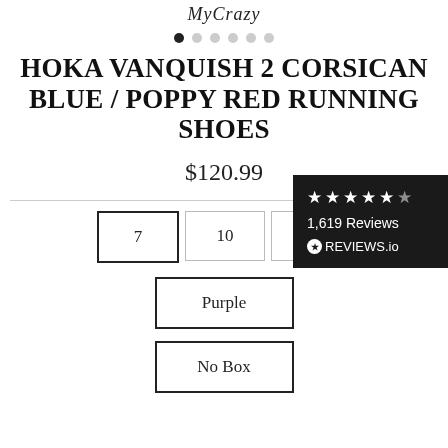MyCrazy
HOKA VANQUISH 2 CORSICAN BLUE / POPPY RED RUNNING SHOES
$120.99
[Figure (other): Star rating badge with 5 stars, 1,619 Reviews, REVIEWS.io logo on dark background]
7
10
10.5
Purple
No Box